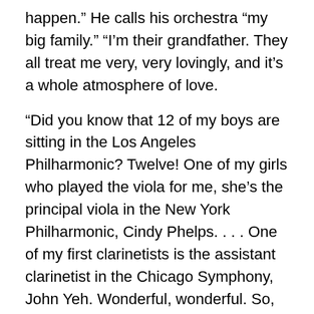happen.” He calls his orchestra “my big family.” “I’m their grandfather. They all treat me very, very lovingly, and it’s a whole atmosphere of love.
“Did you know that 12 of my boys are sitting in the Los Angeles Philharmonic? Twelve! One of my girls who played the viola for me, she’s the principal viola in the New York Philharmonic, Cindy Phelps. . . . One of my first clarinetists is the assistant clarinetist in the Chicago Symphony, John Yeh. Wonderful, wonderful. So, we are very, very proud that way. My pride and joy is to put my boys and girls in beautiful places. That’s my life.”
* Mehli Mehta conducts the American Youth Symphony in Grieg’s Piano Concerto, with Kirill Gliadkovsky as soloist, and in Shostakovich’s Symphony No. 5, at the Wadsworth Theater. Next Sunday, 8 p.m. Free. (310) 476-2825.